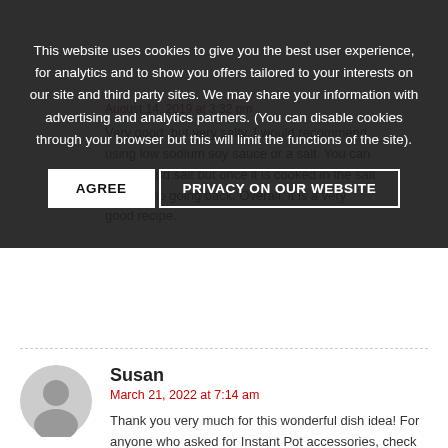This website uses cookies to give you the best user experience, for analytics and to show you offers tailored to your interests on our site and third party sites. We may share your information with advertising and analytics partners. (You can disable cookies through your browser but this will limit the functions of the site).
AGREE | PRIVACY ON OUR WEBSITE
August 14, 2019 at 3:32 pm
Very good, but very salty. I would recommend using low sodium soy sauce or a salt. You can always add salt but once it is cooked in the salt there is no going back. Overall, it is a very good recipe.
Susan
March 21, 2022 at 7:14 am
Thank you very much for this wonderful dish idea! For anyone who asked for Instant Pot accessories, check out this Amazon store – https://amzn.to/3rzTm7K